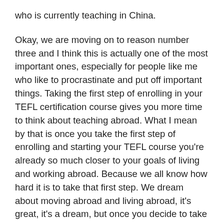who is currently teaching in China.
Okay, we are moving on to reason number three and I think this is actually one of the most important ones, especially for people like me who like to procrastinate and put off important things. Taking the first step of enrolling in your TEFL certification course gives you more time to think about teaching abroad. What I mean by that is once you take the first step of enrolling and starting your TEFL course you're already so much closer to your goals of living and working abroad. Because we all know how hard it is to take that first step. We dream about moving abroad and living abroad, it's great, it's a dream, but once you decide to take a TEFL course your mindset is going to completely change. First it was just a dream, it's just something you want to do, but once you start your course you're starting to live the dream. Your mental state is going to change dramatically and you're going to feel super motivated and energized to get this going. I think that's a